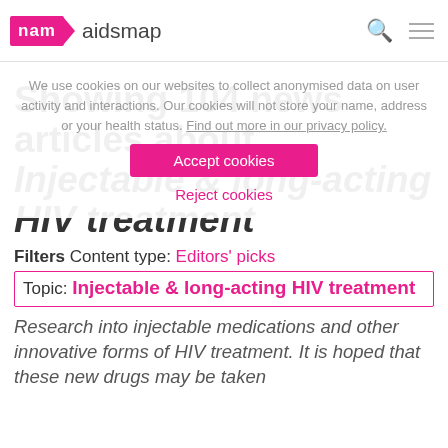nam aidsmap
We use cookies on our websites to collect anonymised data on user activity and interactions. Our cookies will not store your name, address or your health status. Find out more in our privacy policy.
Showing 104 news articles about Injectable & long-acting HIV treatment
Filters Content type: Editors' picks
Topic: Injectable & long-acting HIV treatment
Accept cookies
Reject cookies
Research into injectable medications and other innovative forms of HIV treatment. It is hoped that these new drugs may be taken